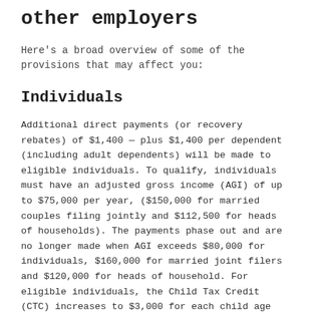other employers
Here's a broad overview of some of the provisions that may affect you:
Individuals
Additional direct payments (or recovery rebates) of $1,400 — plus $1,400 per dependent (including adult dependents) will be made to eligible individuals. To qualify, individuals must have an adjusted gross income (AGI) of up to $75,000 per year, ($150,000 for married couples filing jointly and $112,500 for heads of households). The payments phase out and are no longer made when AGI exceeds $80,000 for individuals, $160,000 for married joint filers and $120,000 for heads of household. For eligible individuals, the Child Tax Credit (CTC) increases to $3,000 for each child age six to 17 and $3,600 per year for children under age six. To be eligible for the full payment, you must have a modified AGI of under $75,000 for singles